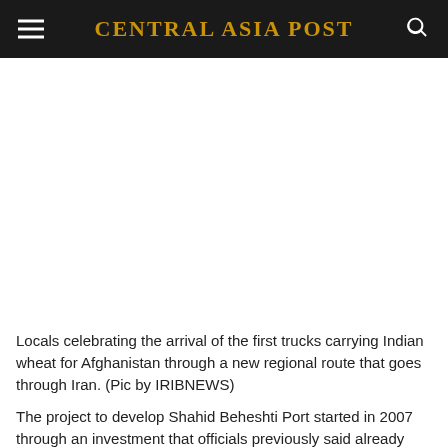CENTRAL ASIA POST
[Figure (photo): White blank area representing an image of locals celebrating the arrival of the first trucks carrying Indian wheat for Afghanistan through a new regional route that goes through Iran.]
Locals celebrating the arrival of the first trucks carrying Indian wheat for Afghanistan through a new regional route that goes through Iran. (Pic by IRIBNEWS)
The project to develop Shahid Beheshti Port started in 2007 through an investment that officials previously said already